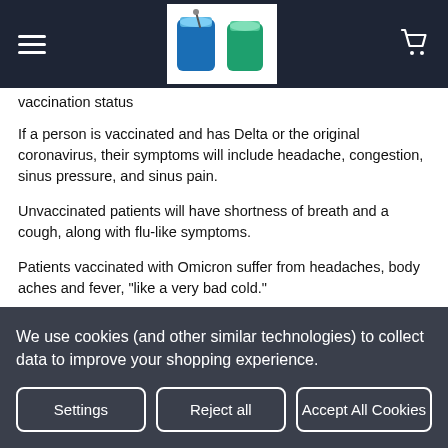Navigation bar with hamburger menu, logo, and cart icon
vaccination status
If a person is vaccinated and has Delta or the original coronavirus, their symptoms will include headache, congestion, sinus pressure, and sinus pain.
Unvaccinated patients will have shortness of breath and a cough, along with flu-like symptoms.
Patients vaccinated with Omicron suffer from headaches, body aches and fever, "like a very bad cold."
While unvaccinated Omicron people have the same shortness of breath, cough, and similar symptoms as unvaccinated people with Delta and the
We use cookies (and other similar technologies) to collect data to improve your shopping experience.
Settings  Reject all  Accept All Cookies